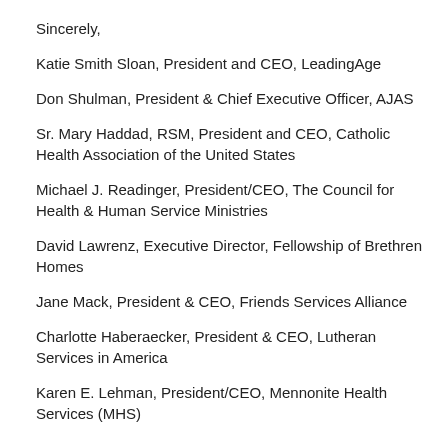Sincerely,
Katie Smith Sloan, President and CEO, LeadingAge
Don Shulman, President & Chief Executive Officer, AJAS
Sr. Mary Haddad, RSM, President and CEO, Catholic Health Association of the United States
Michael J. Readinger, President/CEO, The Council for Health & Human Service Ministries
David Lawrenz, Executive Director, Fellowship of Brethren Homes
Jane Mack, President & CEO, Friends Services Alliance
Charlotte Haberaecker, President & CEO, Lutheran Services in America
Karen E. Lehman, President/CEO, Mennonite Health Services (MHS)